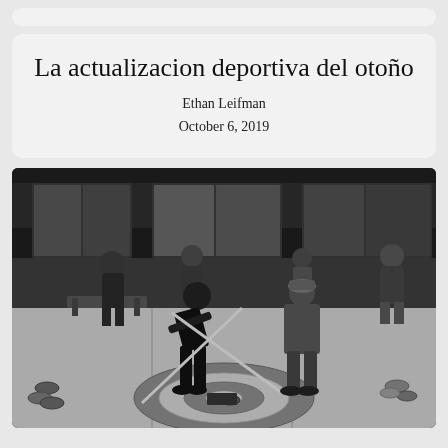La actualizacion deportiva del otoño
Ethan Leifman
October 6, 2019
[Figure (photo): Black and white photograph of people curling on an indoor ice rink. Two players in the foreground are sweeping with brooms near a curling stone on a target circle. Other people stand watching in the background near windows of an indoor facility.]